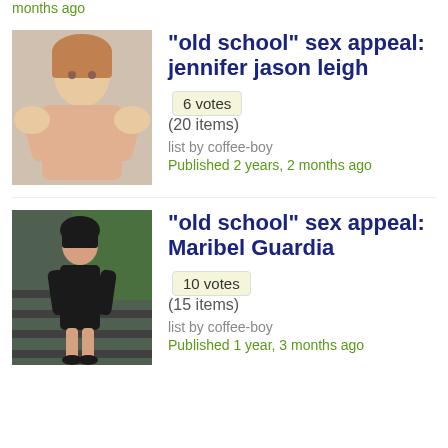months ago
"old school" sex appeal: jennifer jason leigh (20 items) list by coffee-boy Published 2 years, 2 months ago — 6 votes
"old school" sex appeal: Maribel Guardia (15 items) list by coffee-boy Published 1 year, 3 months ago — 10 votes